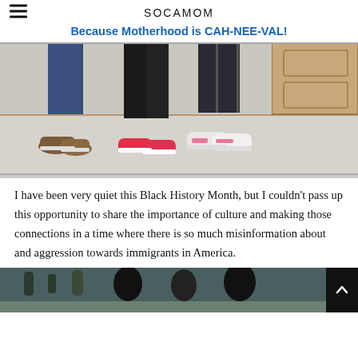SOCAMOM
Because Motherhood is CAH-NEE-VAL!
[Figure (photo): Photo showing legs and feet of three people standing on a light gray floor, wearing jeans/dark pants and sneakers (brown, pink/red, and white/pink shoes). Background shows a beige/tan wall and a wooden door.]
I have been very quiet this Black History Month, but I couldn't pass up this opportunity to share the importance of culture and making those connections in a time where there is so much misinformation about and aggression towards immigrants in America.
[Figure (photo): Partial photo at the bottom of the page showing what appears to be people in a room with decorative items on a teal/dark wall.]